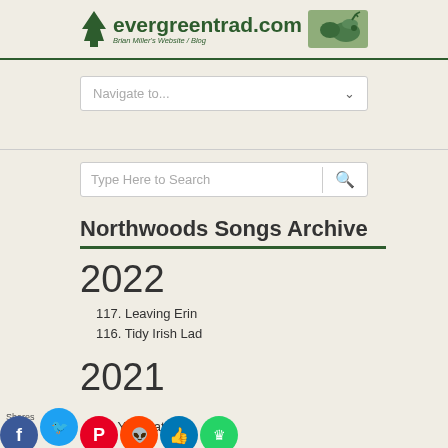evergreentrad.com - Brian Miller's Website / Blog
Navigate to...
Type Here to Search
Northwoods Songs Archive
2022
117. Leaving Erin
116. Tidy Irish Lad
2021
115. Exile of Erin
114. Yo... Matt Ila...